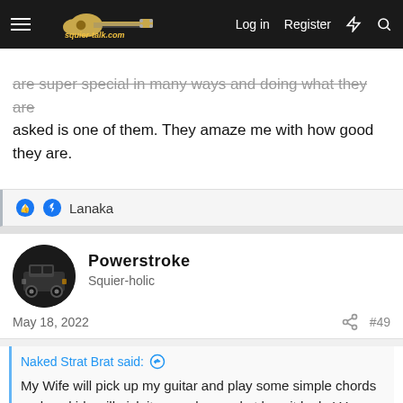squier-talk.com | Log in | Register
are super special in many ways and doing what they are asked is one of them. They amaze me with how good they are.
👍 Lanaka
Powerstroke
Squier-holic
May 18, 2022  #49
Naked Strat Brat said: ↑
My Wife will pick up my guitar and play some simple chords and my kids will pick it up and marvel at how it looks! Yes they try to play but right now are clueless about the guitar. Thus, I am buying the Squire Bullets to give them some lessons and also to teach them how to take proper care of what they own. It makes me smile how they treat my guitar with such respect. Lift it up off the stand I have it on so softly and move slowly with it to sit on the edge of the bed and tinker